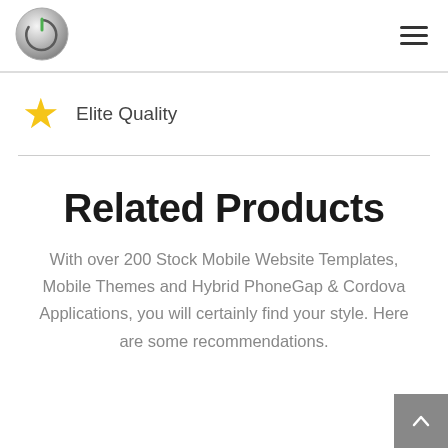[Figure (logo): Circular metallic power button logo with green power icon in the center]
[Figure (illustration): Hamburger menu icon (three horizontal lines)]
Elite Quality
Related Products
With over 200 Stock Mobile Website Templates, Mobile Themes and Hybrid PhoneGap & Cordova Applications, you will certainly find your style. Here are some recommendations.